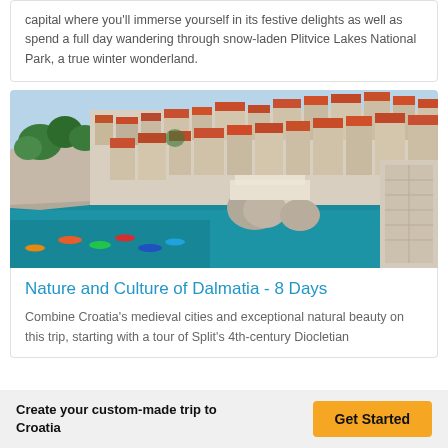capital where you'll immerse yourself in its festive delights as well as spend a full day wandering through snow-laden Plitvice Lakes National Park, a true winter wonderland.
[Figure (photo): Aerial view of Dubrovnik old town with orange-red rooftops, white stone walls, rocky cliffs with green trees, and turquoise sea with kayakers in the foreground.]
Nature and Culture of Dalmatia - 8 Days
Combine Croatia's medieval cities and exceptional natural beauty on this trip, starting with a tour of Split's 4th-century Diocletian
Create your custom-made trip to Croatia
Get Started